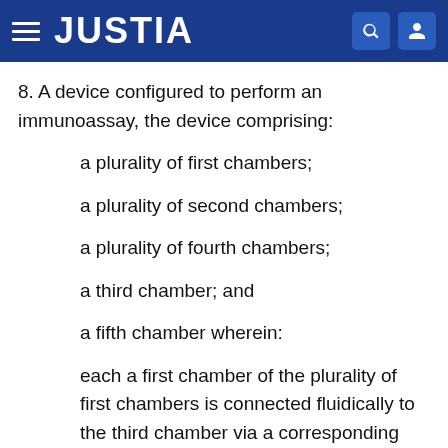JUSTIA
8. A device configured to perform an immunoassay, the device comprising:
a plurality of first chambers;
a plurality of second chambers;
a plurality of fourth chambers;
a third chamber; and
a fifth chamber wherein:
each a first chamber of the plurality of first chambers is connected fluidically to the third chamber via a corresponding second chamber of the plurality of second chambers, and
each fourth chamber of the plurality of fourth...